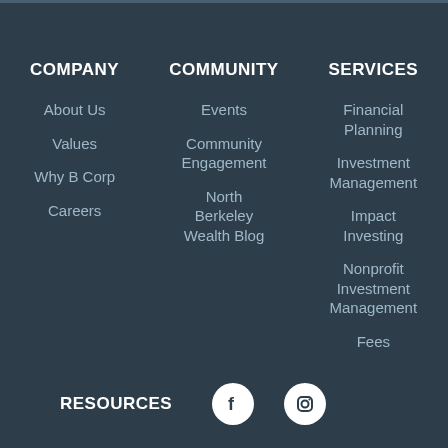COMPANY
About Us
Values
Why B Corp
Careers
COMMUNITY
Events
Community Engagement
North Berkeley Wealth Blog
SERVICES
Financial Planning
Investment Management
Impact Investing
Nonprofit Investment Management
Fees
RESOURCES
[Figure (illustration): Facebook social media icon - white F on white circle]
[Figure (illustration): Instagram social media icon - camera outline on white circle]